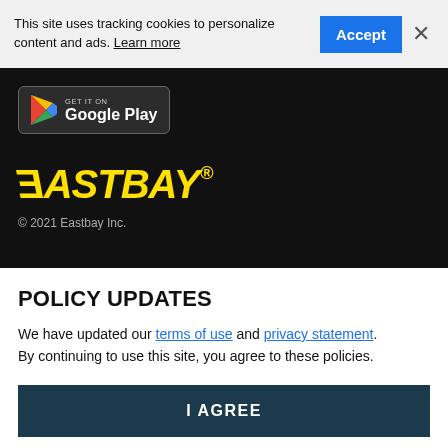This site uses tracking cookies to personalize content and ads. Learn more
[Figure (logo): Google Play store badge with triangle play icon]
[Figure (logo): Eastbay logo in bold yellow italic text on black background]
© 2021 Eastbay Inc.
POLICY UPDATES
We have updated our terms of use and privacy statement. By continuing to use this site, you agree to these policies.